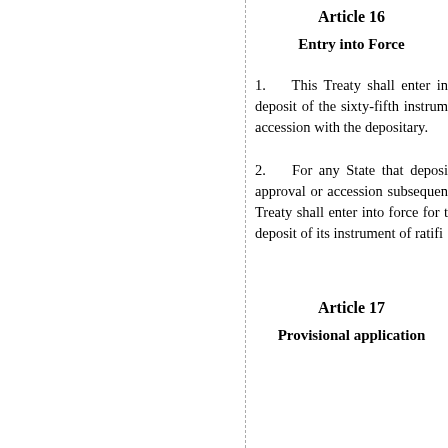Article 16
Entry into Force
1.    This Treaty shall enter in deposit of the sixty-fifth instrum accession with the depositary.
2.    For any State that deposi approval or accession subsequen Treaty shall enter into force for t deposit of its instrument of ratifi
Article 17
Provisional application